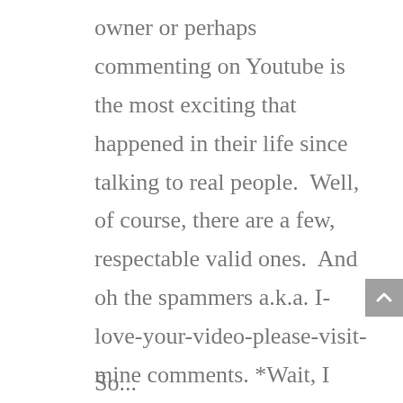owner or perhaps commenting on Youtube is the most exciting that happened in their life since talking to real people.  Well, of course, there are a few, respectable valid ones.  And oh the spammers a.k.a. I-love-your-video-please-visit-mine comments. *Wait, I think this already deserves another cartoon post*.
So...